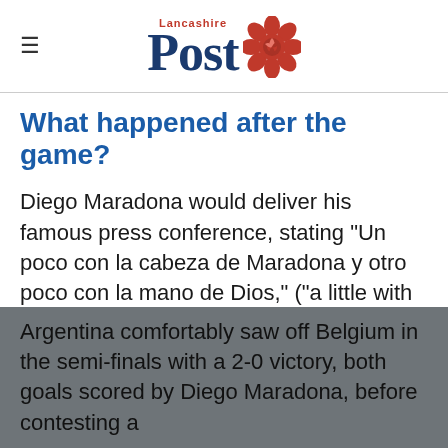Lancashire Post
What happened after the game?
Diego Maradona would deliver his famous press conference, stating "Un poco con la cabeza de Maradona y otro poco con la mano de Dios," ("a little with the head of Maradona and a little with the hand of God") and the media would act with a mixture of outrage and delight.
Argentina comfortably saw off Belgium in the semi-finals with a 2-0 victory, both goals scored by Diego Maradona, before contesting a